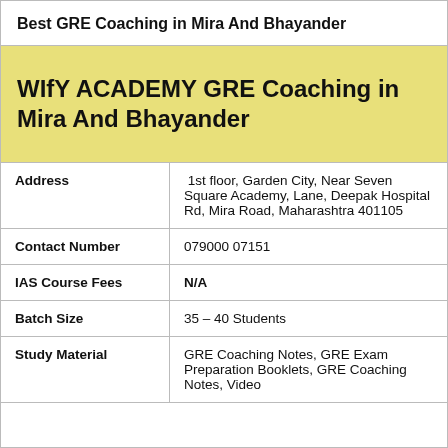Best GRE Coaching in Mira And Bhayander
WIfY ACADEMY GRE Coaching in Mira And Bhayander
| Field | Value |
| --- | --- |
| Address | 1st floor, Garden City, Near Seven Square Academy, Lane, Deepak Hospital Rd, Mira Road, Maharashtra 401105 |
| Contact Number | 079000 07151 |
| IAS Course Fees | N/A |
| Batch Size | 35 – 40 Students |
| Study Material | GRE Coaching Notes, GRE Exam Preparation Booklets, GRE Coaching Notes, Video |